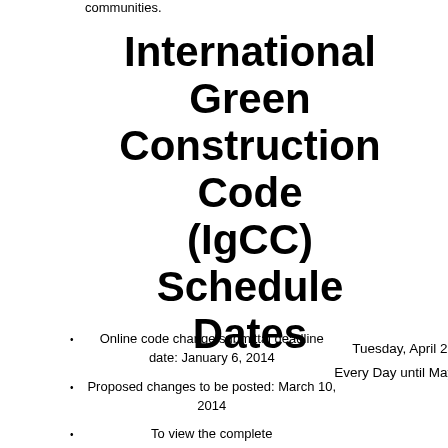communities.
International Green Construction Code (IgCC) Schedule Dates
Online code change submittal deadline date: January 6, 2014
Proposed changes to be posted: March 10, 2014
To view the complete
Tuesday, April 29, 2014
Every Day until May 04, 2014